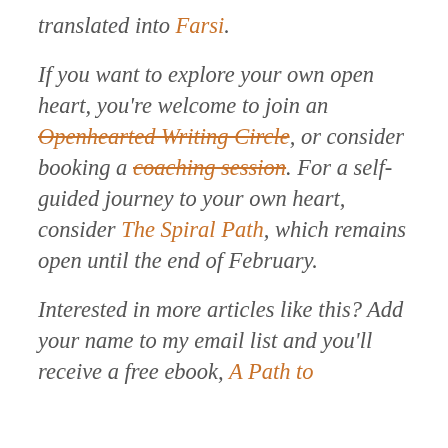translated into Farsi.
If you want to explore your own open heart, you're welcome to join an Openhearted Writing Circle, or consider booking a coaching session. For a self-guided journey to your own heart, consider The Spiral Path, which remains open until the end of February.
Interested in more articles like this? Add your name to my email list and you'll receive a free ebook, A Path to